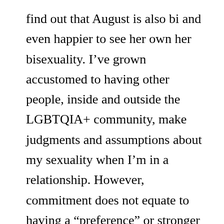find out that August is also bi and even happier to see her own her bisexuality. I've grown accustomed to having other people, inside and outside the LGBTQIA+ community, make judgments and assumptions about my sexuality when I'm in a relationship. However, commitment does not equate to having a “preference” or stronger attraction toward one gender, and, though her relationship with Jane is August’s only connection, her identity as a bisexual woman remains strong.